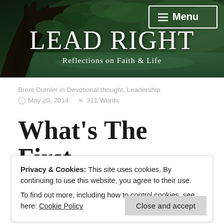[Figure (photo): Website header banner with forest/nature background showing a large tree on the left and a river/lake with green trees in the background. Overlay shows site title 'LEAD RIGHT' and subtitle 'Reflections on Faith & Life'. A menu button is in the top right corner.]
LEAD RIGHT
Reflections on Faith & Life
Brent Dumler in Devotional thought, Leadership
◷ May 20, 2014   ≡ 311 Words
WHAT'S THE FIRST
Privacy & Cookies: This site uses cookies. By continuing to use this website, you agree to their use.
To find out more, including how to control cookies, see here: Cookie Policy
Close and accept